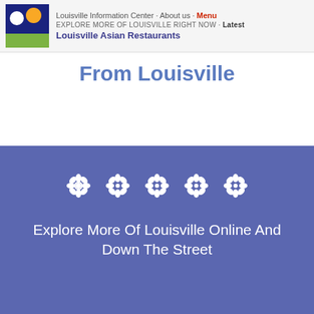Louisville Information Center · About us · Menu | EXPLORE MORE OF LOUISVILLE RIGHT NOW · Latest | Louisville Asian Restaurants
From Louisville
[Figure (illustration): Blue card with 5 decorative white flower/snowflake icons and text 'Explore More Of Louisville Online And Down The Street']
Explore More Of Louisville Online And Down The Street